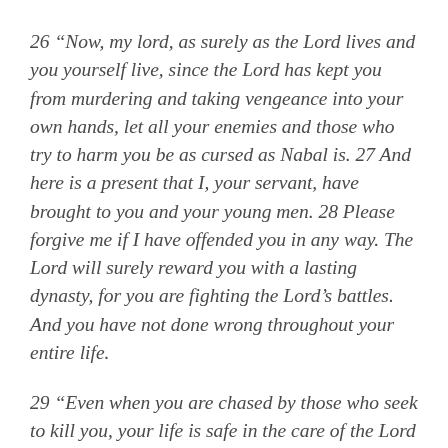26 “Now, my lord, as surely as the Lord lives and you yourself live, since the Lord has kept you from murdering and taking vengeance into your own hands, let all your enemies and those who try to harm you be as cursed as Nabal is. 27 And here is a present that I, your servant, have brought to you and your young men. 28 Please forgive me if I have offended you in any way. The Lord will surely reward you with a lasting dynasty, for you are fighting the Lord’s battles. And you have not done wrong throughout your entire life.
29 “Even when you are chased by those who seek to kill you, your life is safe in the care of the Lord your God, secure in his treasure pouch! But the lives of your enemies will disappear like stones shot from a sling! 30 When the Lord has done all he promised and has made you leader of Israel, 31 don’t let this be